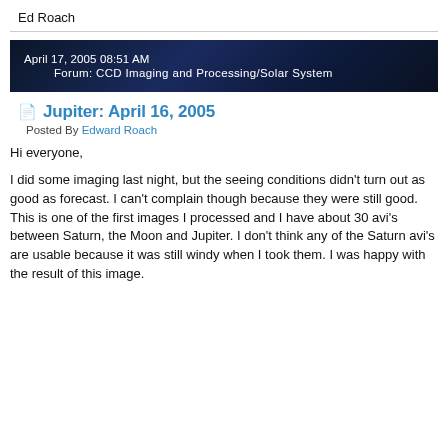Ed Roach
[Figure (other): Dark blue starfield banner with text: April 17, 2005 08:51 AM / Forum: CCD Imaging and Processing/Solar System]
Jupiter: April 16, 2005
Posted By Edward Roach
Hi everyone,
I did some imaging last night, but the seeing conditions didn't turn out as good as forecast. I can't complain though because they were still good. This is one of the first images I processed and I have about 30 avi's between Saturn, the Moon and Jupiter. I don't think any of the Saturn avi's are usable because it was still windy when I took them. I was happy with the result of this image.